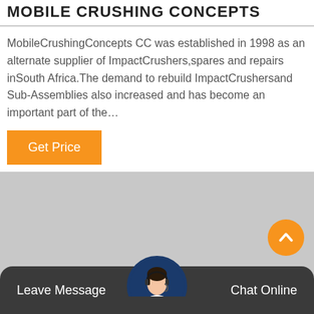MOBILE CRUSHING CONCEPTS
MobileCrushingConcepts CC was established in 1998 as an alternate supplier of ImpactCrushers,spares and repairs inSouth Africa.The demand to rebuild ImpactCrushersand Sub-Assemblies also increased and has become an important part of the…
[Figure (other): Orange 'Get Price' button]
[Figure (photo): Large grey placeholder image area with scroll-to-top orange circular button in bottom right]
Leave Message   Chat Online